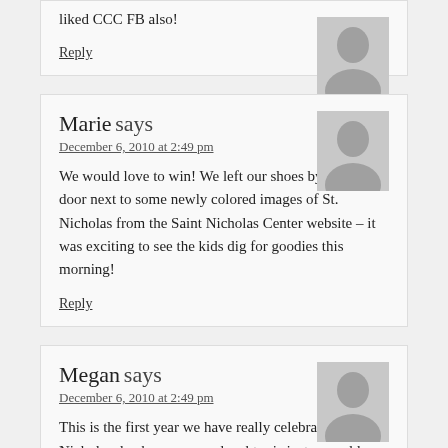liked CCC FB also!
Reply
Marie says
December 6, 2010 at 2:49 pm
We would love to win! We left our shoes by the front door next to some newly colored images of St. Nicholas from the Saint Nicholas Center website – it was exciting to see the kids dig for goodies this morning!
Reply
Megan says
December 6, 2010 at 2:49 pm
This is the first year we have really celebrated St. Nicholas day because our daughter is just now old enough to get it. 🙂 She was so excited this morning to find chocolate gold coins and